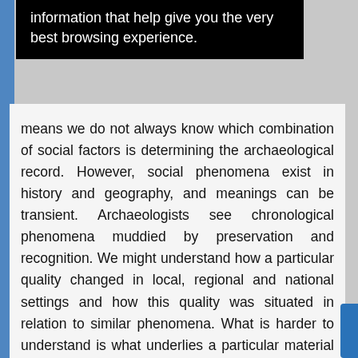[Figure (screenshot): Black popup/cookie banner showing text: 'information that help give you the very best browsing experience.']
means we do not always know which combination of social factors is determining the archaeological record. However, social phenomena exist in history and geography, and meanings can be transient. Archaeologists see chronological phenomena muddied by preservation and recognition. We might understand how a particular quality changed in local, regional and national settings and how this quality was situated in relation to similar phenomena. What is harder to understand is what underlies a particular material pattern, but this does not suggest that social complexity, multiple determinations and ambiguity mean woolly interpretation. Socially situated